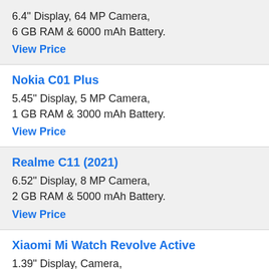6.4" Display, 64 MP Camera, 6 GB RAM & 6000 mAh Battery.
View Price
Nokia C01 Plus
5.45" Display, 5 MP Camera, 1 GB RAM & 3000 mAh Battery.
View Price
Realme C11 (2021)
6.52" Display, 8 MP Camera, 2 GB RAM & 5000 mAh Battery.
View Price
Xiaomi Mi Watch Revolve Active
1.39" Display, Camera, 0 & 420 mAh Battery.
View Price